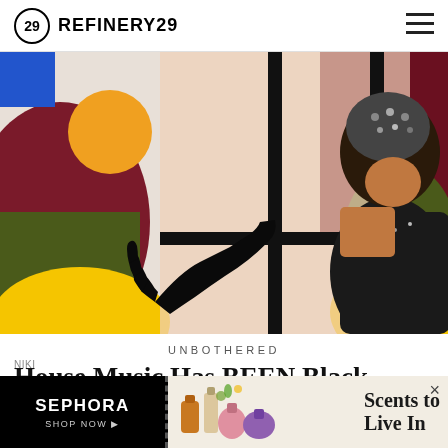REFINERY29
[Figure (photo): Woman in black sequin outfit and gloves reaching through a window frame; colorful illustrated background with blue, yellow, red, green, and dark red geometric shapes]
UNBOTHERED
House Music Has BEEN Black — Beyoncé Is Just Bringing It Back
[Figure (other): Sephora advertisement banner with perfume bottles and 'Scents to Live In' text on the right side]
NIKI